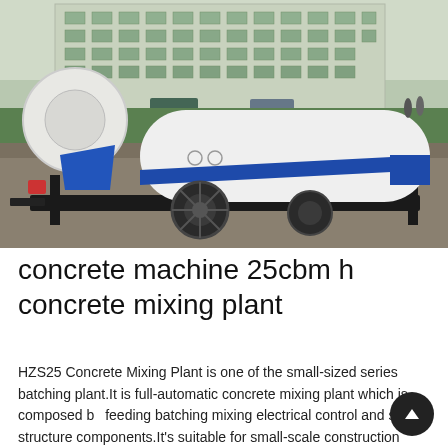[Figure (photo): A white and blue trailer-mounted concrete mixing plant (HZS25) with a rotating drum mixer on the left side, parked on gravel. The machine has a white capsule-shaped body with a blue diagonal stripe, black metal frame, wheels, and support legs. In the background is a multi-story building and several parked cars on grass.]
concrete machine 25cbm h concrete mixing plant
HZS25 Concrete Mixing Plant is one of the small-sized series batching plant.It is full-automatic concrete mixing plant which is composed by feeding batching mixing electrical control and steel structure components.It's suitable for small-scale construction projects precast